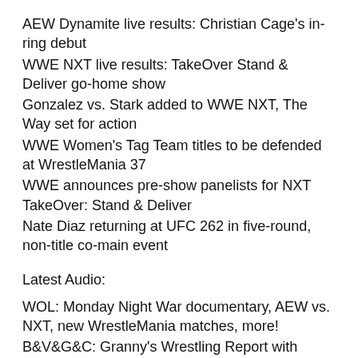AEW Dynamite live results: Christian Cage's in-ring debut
WWE NXT live results: TakeOver Stand & Deliver go-home show
Gonzalez vs. Stark added to WWE NXT, The Way set for action
WWE Women's Tag Team titles to be defended at WrestleMania 37
WWE announces pre-show panelists for NXT TakeOver: Stand & Deliver
Nate Diaz returning at UFC 262 in five-round, non-title co-main event
Latest Audio:
WOL: Monday Night War documentary, AEW vs. NXT, new WrestleMania matches, more!
B&V&G&C: Granny's Wrestling Report with EXPLODING BOMBS, Monday Night War documentary